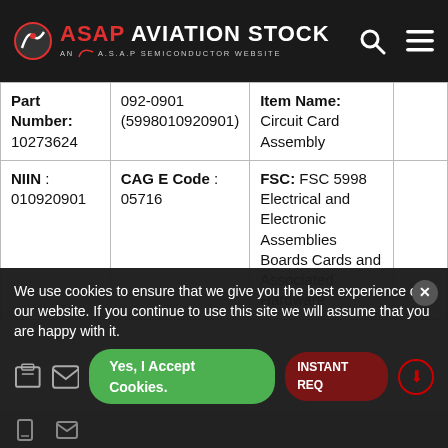[Figure (logo): ASAP Aviation Stock logo on dark header with search and menu icons]
|  |  | Item Name: Circuit Card Assembly |  |
| --- | --- | --- | --- |
| Part Number: 10273624 | 092-0901 (5998010920901) | Item Name: Circuit Card Assembly |  |
| NIIN: 010920901 | CAGE Code: 05716 | FSC: FSC 5998 Electrical and Electronic Assemblies Boards Cards and Associated Hardware |  |
We use cookies to ensure that we give you the best experience on our website. If you continue to use this site we will assume that you are happy with it.
Yes, I Accept Cookies.